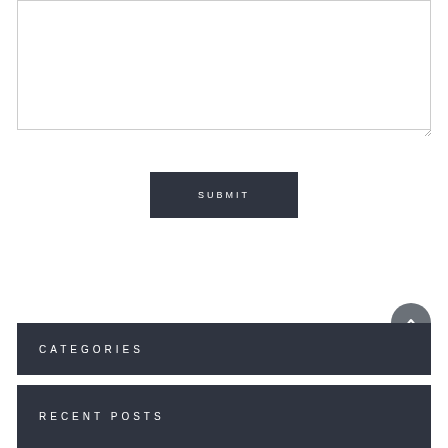[Figure (screenshot): A large empty textarea input box with a resize handle at the bottom-right corner]
SUBMIT
CATEGORIES
RECENT POSTS